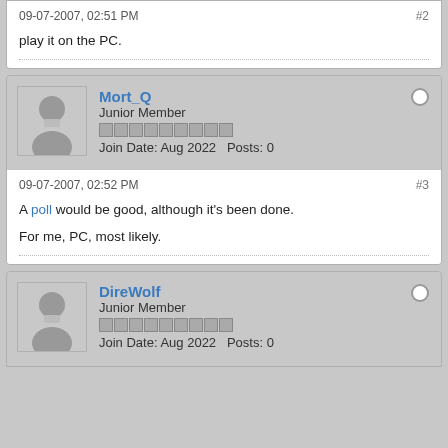09-07-2007, 02:51 PM
#2
play it on the PC.
Mort_Q
Junior Member
Join Date: Aug 2022   Posts: 0
09-07-2007, 02:52 PM
#3
A poll would be good, although it's been done.
For me, PC, most likely.
DireWolf
Junior Member
Join Date: Aug 2022   Posts: 0